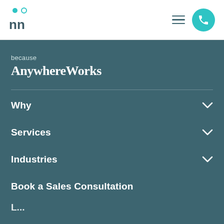[Figure (logo): AnywhereWorks logo with two stylized people figures and 'nn' text in teal/dark teal]
[Figure (other): Hamburger menu icon (three horizontal lines) and teal phone call button]
because
AnywhereWorks
Why
Services
Industries
Book a Sales Consultation
L...